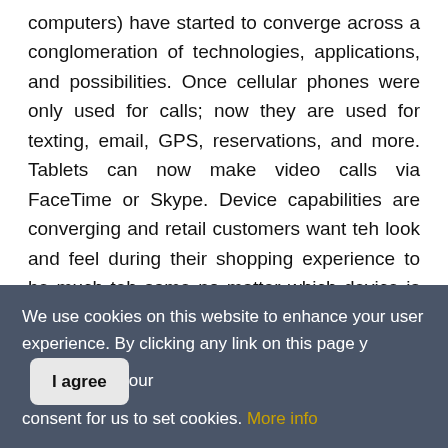computers) have started to converge across a conglomeration of technologies, applications, and possibilities. Once cellular phones were only used for calls; now they are used for texting, email, GPS, reservations, and more. Tablets can now make video calls via FaceTime or Skype. Device capabilities are converging and retail customers want teh look and feel during their shopping experience to be much teh same no matter which device is being used.
 dis movement has caught many retail companies at teh crest of teh mobility wave, and quite often we are unprepared for teh customers' requests as well as teh
We use cookies on this website to enhance your user experience. By clicking any link on this page you give your consent for us to set cookies. More info